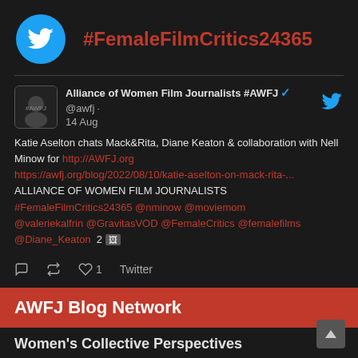#FemaleFilmCritics24365
Alliance of Women Film Journalists #AWFJ ✓ @awfj · 14 Aug
Katie Aselton chats Mack&Rita, Diane Keaton & collaboration with Nell Minow for http://AWFJ.org https://awfj.org/blog/2022/08/10/katie-aselton-on-mack-rita-... ALLIANCE OF WOMEN FILM JOURNALISTS #FemaleFilmCritics24365 @nminow @moviemom @valeriekalfrin @GravitasVOD @FemaleCritics @femalefilms @Diane_Keaton 2 🖼
♡  ⟳  ♡ 1  Twitter
AWFJ Blog Network
Women's Collective Perspectives
[Figure (photo): Three thumbnail photos in a strip below Women's Collective Perspectives heading]